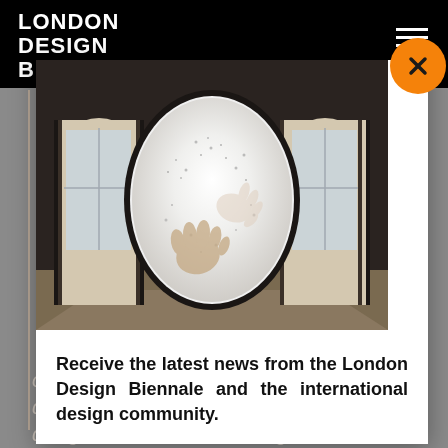LONDON DESIGN BIEN[NALE]
[Figure (photo): Interior gallery space with dark walls, two arched doorways with windows on left and right, and a large oval light installation in the center showing hands pressed against a luminous surface with many small particles or dots]
Receive the latest news from the London Design Biennale and the international design community.
centred design process. Experienced designers are familiar with a variety of design tools and methodologies that